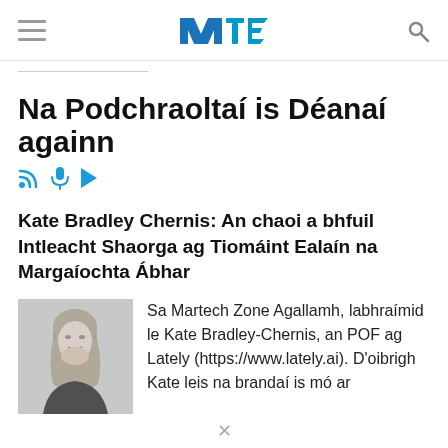Martech Zone (NNT logo)
Na Podchraoltaí is Déanaí againn
Kate Bradley Chernis: An chaoi a bhfuil Intleacht Shaorga ag Tiomáint Ealaín na Margaíochta Ábhar
[Figure (photo): Black and white headshot of Kate Bradley-Chernis, a woman with long blonde hair, resting her chin on her hand]
Sa Martech Zone Agallamh, labhraímid le Kate Bradley-Chernis, an POF ag Lately (https://www.lately.ai). D'oibrigh Kate leis na brandaí is mó ar